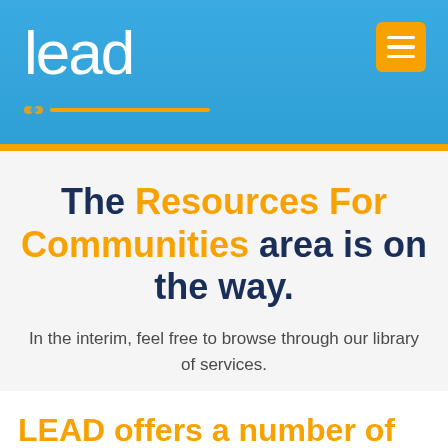lead
The Resources For Communities area is on the way.
In the interim, feel free to browse through our library of services.
LEAD offers a number of